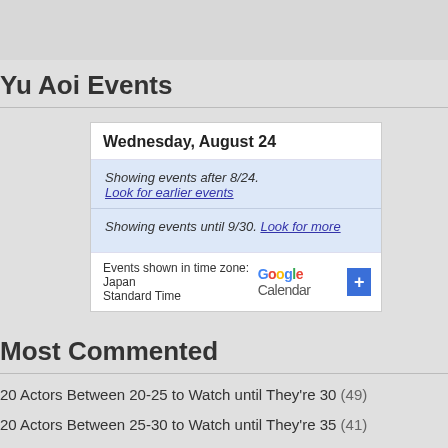Yu Aoi Events
[Figure (screenshot): Google Calendar widget showing Wednesday, August 24 with events after 8/24 and until 9/30, and a Google Calendar button. Time zone: Japan Standard Time.]
Most Commented
20 Actors Between 20-25 to Watch until They're 30 (49)
20 Actors Between 25-30 to Watch until They're 35 (41)
Beijing, Beijing, Wo Ai Beijing – I Love Beijing Lyrics! (36)
AfterEllen Top East-Asian Suggestions 2010 (28)